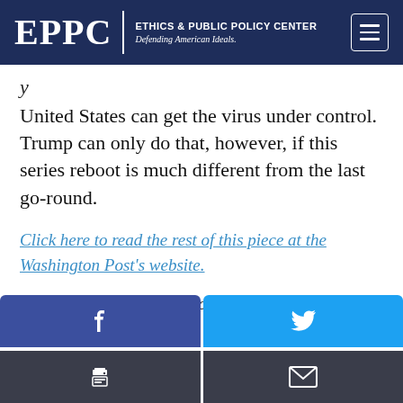EPPC | ETHICS & PUBLIC POLICY CENTER Defending American Ideals.
United States can get the virus under control. Trump can only do that, however, if this series reboot is much different from the last go-round.
Click here to read the rest of this piece at the Washington Post's website.
Henry Olsen is a senior fellow at the Ethics and Public Policy Center.